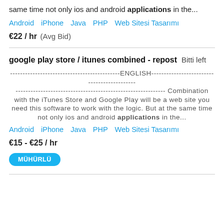same time not only ios and android applications in the...
Android   iPhone   Java   PHP   Web Sitesi Tasarımı
€22 / hr  (Avg Bid)
google play store / itunes combined - repost   Bitti left
--------------------------------------------ENGLISH-------------------------------------------- ------------------------------------------------------------ Combination with the iTunes Store and Google Play will be a web site you need this software to work with the logic. But at the same time not only ios and android applications in the...
Android   iPhone   Java   PHP   Web Sitesi Tasarımı
€15 - €25 / hr
MÜHÜRLÜ